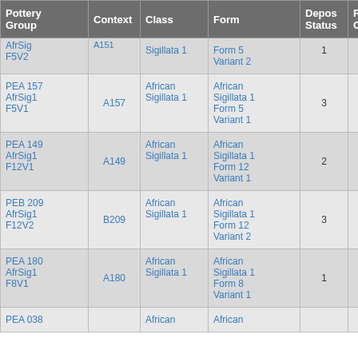| Pottery Group | Context | Class | Form | Depos Status | R Ct | R EV |
| --- | --- | --- | --- | --- | --- | --- |
| AfrSig F5V2 | A151 | Sigillata 1 | Form 5 Variant 2 | 1 | 2 | 1 |
| PEA 157 AfrSig1 F5V1 | A157 | African Sigillata 1 | African Sigillata 1 Form 5 Variant 1 | 3 | 1 | 1 |
| PEA 149 AfrSig1 F12V1 | A149 | African Sigillata 1 | African Sigillata 1 Form 12 Variant 1 | 2 | 1 | 1 |
| PEB 209 AfrSig1 F12V2 | B209 | African Sigillata 1 | African Sigillata 1 Form 12 Variant 2 | 3 | 1 | 1 |
| PEA 180 AfrSig1 F8V1 | A180 | African Sigillata 1 | African Sigillata 1 Form 8 Variant 1 | 1 | 1 | 1 |
| PEA 038 |  | African | African |  |  |  |